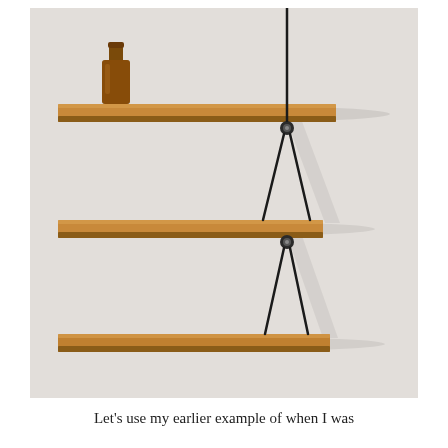[Figure (photo): Photograph of three wooden wall-mounted shelves (light orange-brown wood) suspended by thin black metal wire brackets against a light grey/white wall. A dark amber glass bottle sits on the top shelf.]
Let's use my earlier example of when I was